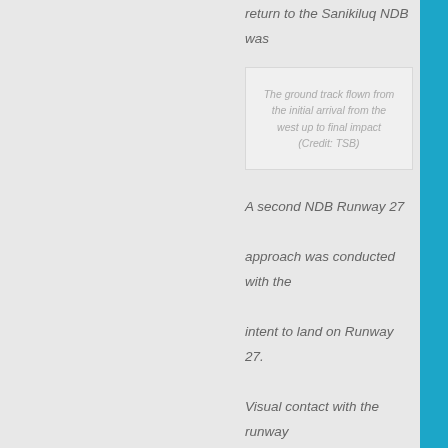return to the Sanikiluq NDB was executed.
The ground track flown from the initial arrival from the west up to final impact (Credit: TSB)
A second NDB Runway 27 approach was conducted with the intent to land on Runway 27. Visual contact with the runway environment was made after passing the missed approach point. Following a steep descent, a rejected landing was initiated at